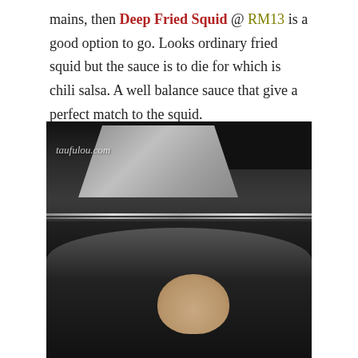mains, then Deep Fried Squid @ RM13 is a good option to go. Looks ordinary fried squid but the sauce is to die for which is chili salsa. A well balance sauce that give a perfect match to the squid.
[Figure (photo): A restaurant kitchen scene with a stainless steel hood/exhaust fan, hanging utensil rack with various cooking tools, dark interior background, and a bald man in dark clothing bending forward in the foreground. Watermark 'taufulou.com' in white italic text in top-left corner.]